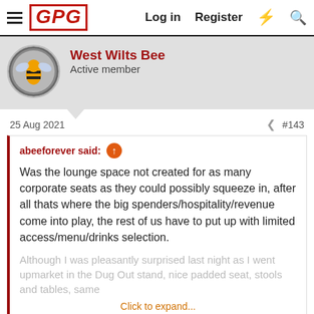GPG | Log in | Register
West Wilts Bee
Active member
25 Aug 2021   #143
abeeforever said: Was the lounge space not created for as many corporate seats as they could possibly squeeze in, after all thats where the big spenders/hospitality/revenue come into play, the rest of us have to put up with limited access/menu/drinks selection.

Although I was pleasantly surprised last night as I went upmarket in the Dug Out stand, nice padded seat, stools and tables, same
Click to expand...
Not sure i may have read it wrong, could not make last night, Daughter got married last Sat and am still hanging. Went against the arse could not drink as was driving. Must